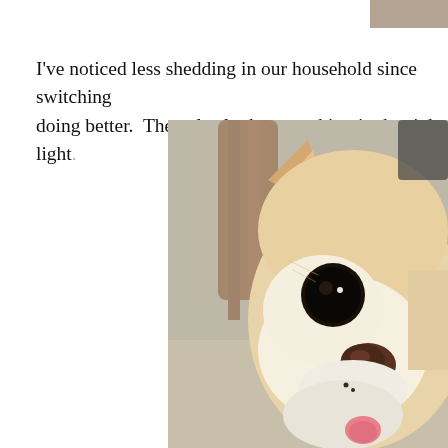[Figure (photo): Partial view of a dog photo at the top of the page, cropped — only the bottom edge visible]
I've noticed less shedding in our household since switching doing better.  They also look super shiny in the right light
[Figure (photo): Close-up photo of a Chihuahua dog with large dark eyes, big ears, small dark nose, and tongue slightly sticking out, sitting in front of a wooden chair]